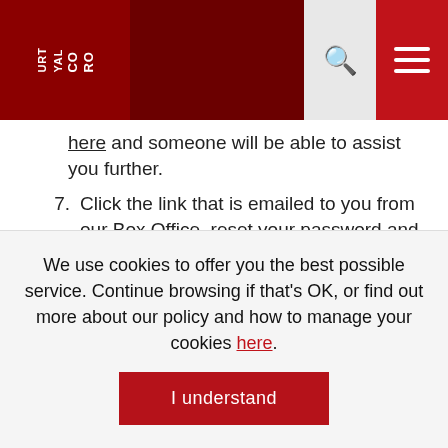[Figure (screenshot): Royal Court Theatre website header with dark red background, logo on left, search icon and hamburger menu on right]
here and someone will be able to assist you further.
7. Click the link that is emailed to you from our Box Office, reset your password and then go back to step 4.
8. A box will appear reminding you that you will have 48 hours to watch the film once you press
We use cookies to offer you the best possible service. Continue browsing if that's OK, or find out more about our policy and how to manage your cookies here.
I understand